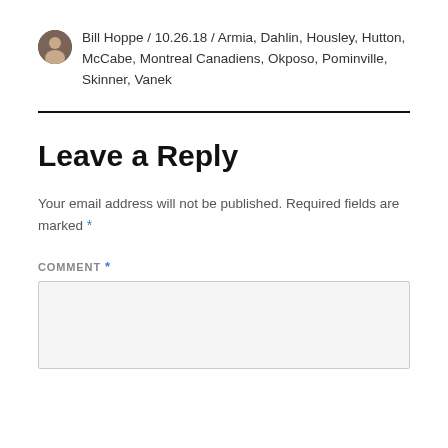Bill Hoppe / 10.26.18 / Armia, Dahlin, Housley, Hutton, McCabe, Montreal Canadiens, Okposo, Pominville, Skinner, Vanek
Leave a Reply
Your email address will not be published. Required fields are marked *
COMMENT *